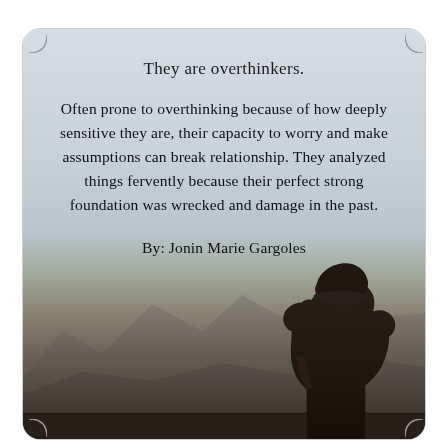[Figure (photo): A card with rounded corners and notched corner decorations. The background shows a misty mountain landscape at dusk with a silhouette of a person wearing a beanie hat visible in the lower right. The upper portion has a light grey-blue gradient background where text is overlaid.]
They are overthinkers.
Often prone to overthinking because of how deeply sensitive they are, their capacity to worry and make assumptions can break relationship. They analyzed things fervently because their perfect strong foundation was wrecked and damage in the past.
By: Jonin Marie Gargoles